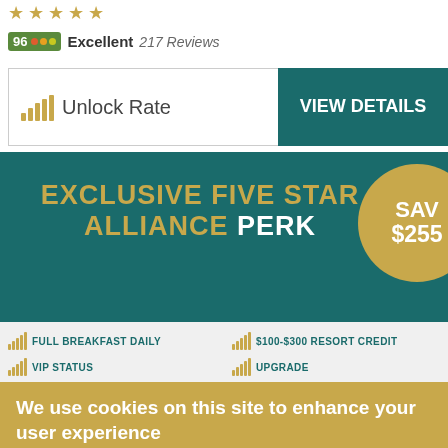[Figure (illustration): Five golden star rating icons in a row]
96 Excellent 217 Reviews
[Figure (illustration): Unlock Rate button with bar chart icon and arrow]
[Figure (illustration): Lock and gift icons]
[Figure (illustration): VIEW DETAILS button in teal]
[Figure (infographic): EXCLUSIVE FIVE STAR ALLIANCE PERK banner with SAVE $255 gold circle]
FULL BREAKFAST DAILY
$100-$300 RESORT CREDIT
VIP STATUS
UPGRADE
We use cookies on this site to enhance your user experience
By clicking any link on this page you are giving your consent for us to set cookies. More info
OK, I agree
Decline